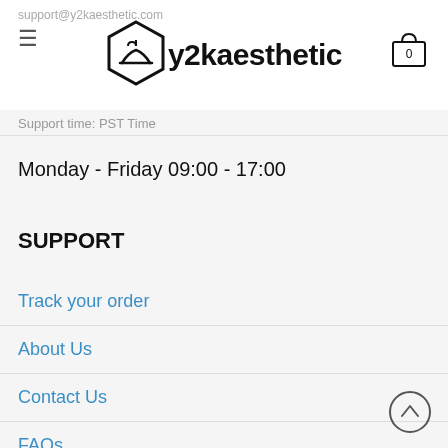support@y2kaesthetic.com  y2kaesthetic  [hamburger menu] [cart: 0]
Support time: PST Time
Monday - Friday 09:00 - 17:00
SUPPORT
Track your order
About Us
Contact Us
FAQs
Sizing Help
My account